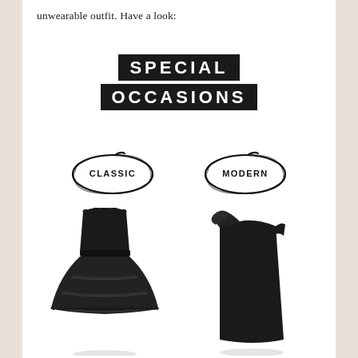unwearable outfit. Have a look:
SPECIAL OCCASIONS
[Figure (illustration): Hand-drawn oval with text 'CLASSIC' inside]
[Figure (illustration): Hand-drawn oval with text 'MODERN' inside]
[Figure (photo): Classic black fit-and-flare lace-trim dress with horizontal stripe tiers on skirt]
[Figure (photo): Modern black one-shoulder ruffle mini dress]